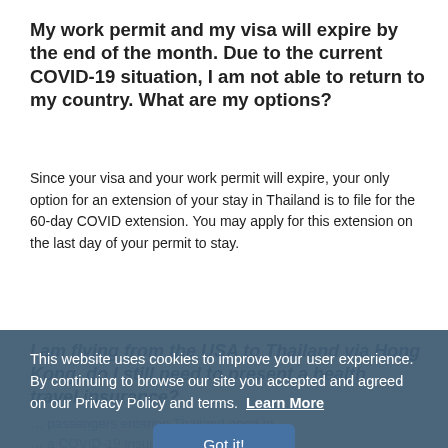My work permit and my visa will expire by the end of the month. Due to the current COVID-19 situation, I am not able to return to my country. What are my options?
Since your visa and your work permit will expire, your only option for an extension of your stay in Thailand is to file for the 60-day COVID extension. You may apply for this extension on the last day of your permit to stay.
This website uses cookies to improve your user experience. By continuing to browse our site you accepted and agreed on our Privacy Policy and terms. Learn More Got it!